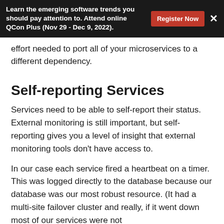Learn the emerging software trends you should pay attention to. Attend online QCon Plus (Nov 29 - Dec 9, 2022).
effort needed to port all of your microservices to a different dependency.
Self-reporting Services
Services need to be able to self-report their status. External monitoring is still important, but self-reporting gives you a level of insight that external monitoring tools don't have access to.
In our case each service fired a heartbeat on a timer. This was logged directly to the database because our database was our most robust resource. (It had a multi-site failover cluster and really, if it went down most of our services were not